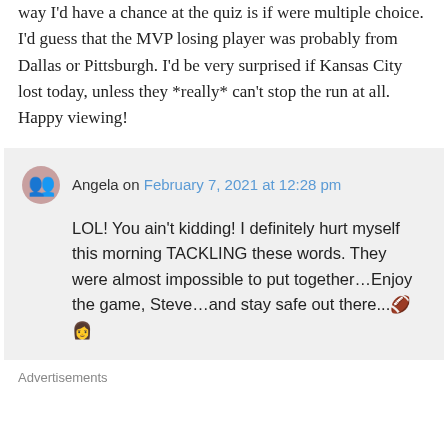way I'd have a chance at the quiz is if were multiple choice. I'd guess that the MVP losing player was probably from Dallas or Pittsburgh. I'd be very surprised if Kansas City lost today, unless they *really* can't stop the run at all. Happy viewing!
Angela on February 7, 2021 at 12:28 pm
LOL! You ain't kidding! I definitely hurt myself this morning TACKLING these words. They were almost impossible to put together…Enjoy the game, Steve…and stay safe out there...🏈👩
Advertisements